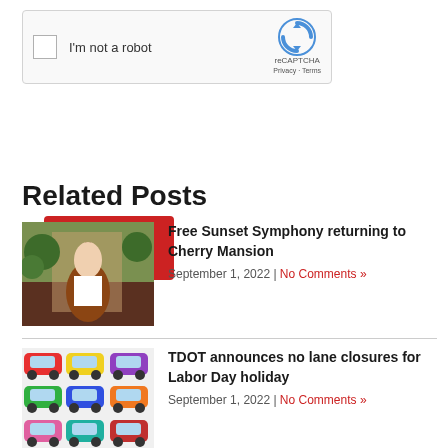[Figure (screenshot): reCAPTCHA widget with checkbox, 'I'm not a robot' text, reCAPTCHA logo, Privacy and Terms links]
Submit Comment
Related Posts
[Figure (photo): Photo of a woman playing cello outdoors at a symphony event]
Free Sunset Symphony returning to Cherry Mansion
September 1, 2022 | No Comments »
[Figure (illustration): Colorful cartoon illustration of many cars packed together in traffic]
TDOT announces no lane closures for Labor Day holiday
September 1, 2022 | No Comments »